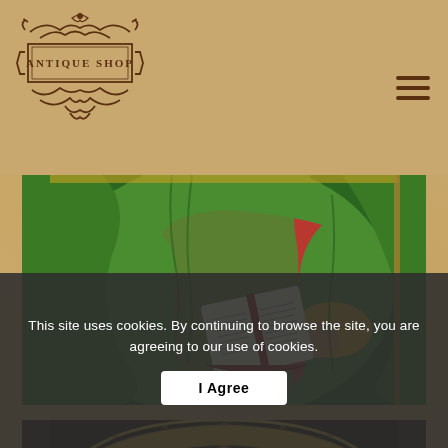[Figure (logo): Antique Shop logo with ornamental scrollwork borders, text 'ANTIQUE SHOP' in decorative serif font]
[Figure (photo): Close-up of a religious icon painting showing a figure in green and red robes holding an open book/gospel]
[Figure (photo): Close-up of a religious icon painting showing the top of a halo with golden radial decoration around a figure's head]
This site uses cookies. By continuing to browse the site, you are agreeing to our use of cookies.
I Agree